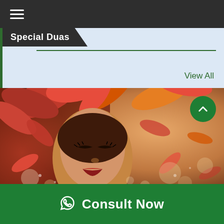≡ (navigation menu icon)
Special Duas
View All
[Figure (photo): Artistic photo of a woman with closed eyes, adorned with red and orange autumn leaves, bokeh background with warm tones]
Consult Now